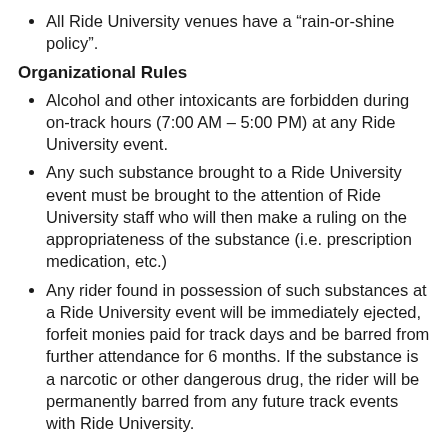All Ride University venues have a “rain-or-shine policy”.
Organizational Rules
Alcohol and other intoxicants are forbidden during on-track hours (7:00 AM – 5:00 PM) at any Ride University event.
Any such substance brought to a Ride University event must be brought to the attention of Ride University staff who will then make a ruling on the appropriateness of the substance (i.e. prescription medication, etc.)
Any rider found in possession of such substances at a Ride University event will be immediately ejected, forfeit monies paid for track days and be barred from further attendance for 6 months. If the substance is a narcotic or other dangerous drug, the rider will be permanently barred from any future track events with Ride University.